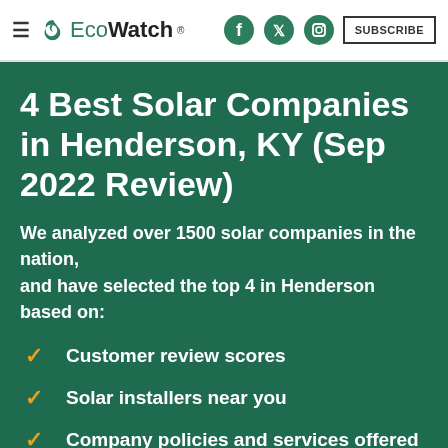EcoWatch — Facebook, Twitter, Instagram, SUBSCRIBE
4 Best Solar Companies in Henderson, KY (Sep 2022 Review)
We analyzed over 1500 solar companies in the nation,
and have selected the top 4 in Henderson based on:
Customer review scores
Solar installers near you
Company policies and services offered